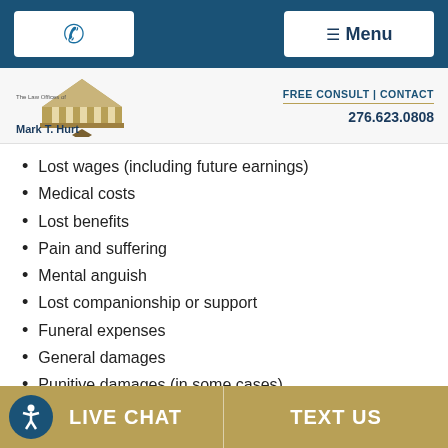Phone | Menu
[Figure (logo): The Law Offices of Mark T. Hurt logo with courthouse/pyramid graphic]
FREE CONSULT | CONTACT
276.623.0808
Lost wages (including future earnings)
Medical costs
Lost benefits
Pain and suffering
Mental anguish
Lost companionship or support
Funeral expenses
General damages
Punitive damages (in some cases)
Wrongful death cases can be very complicated; but, as
LIVE CHAT | TEXT US